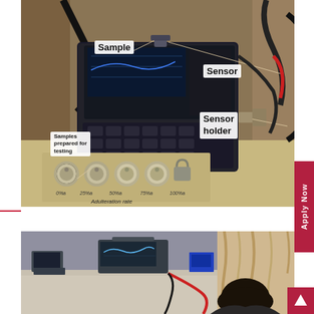[Figure (photo): Laboratory setup photograph showing an ultrasonic testing device (NDT equipment) with a keypad/display, sensor, sensor holder, and sample. Annotated labels point to: 'Sample', 'Sensor', 'Sensor holder', 'Samples prepared for testing'. Bottom section shows knobs with adulteration rate markings at 0%, 25%, 50%, 75%, 100%.]
[Figure (photo): Photograph showing a person (visible from behind/side, dark hair) at a workstation with electronic measurement equipment including what appears to be an oscilloscope or signal analyzer on a shelf, with curtains visible in the background.]